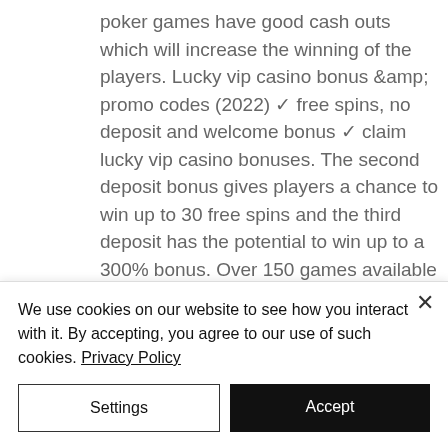poker games have good cash outs which will increase the winning of the players. Lucky vip casino bonus &amp; promo codes (2022) ✓ free spins, no deposit and welcome bonus ✓ claim lucky vip casino bonuses. The second deposit bonus gives players a chance to win up to 30 free spins and the third deposit has the potential to win up to a 300% bonus. Over 150 games available · user-friendly design and easy navigation · even bigger second deposit bonus · social media profiles with promos. Generous deposit match bonuses, free spins, daily promotions and loyalty rewards are waiting
We use cookies on our website to see how you interact with it. By accepting, you agree to our use of such cookies. Privacy Policy
Settings
Accept